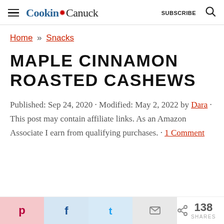Cookin Canuck | SUBSCRIBE
Home » Snacks
MAPLE CINNAMON ROASTED CASHEWS
Published: Sep 24, 2020 · Modified: May 2, 2022 by Dara · This post may contain affiliate links. As an Amazon Associate I earn from qualifying purchases. · 1 Comment